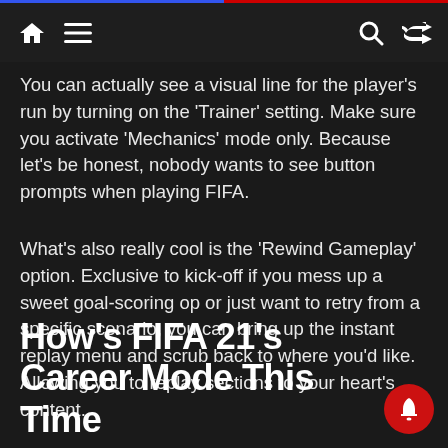Navigation bar with home, menu, search, and shuffle icons
You can actually see a visual line for the player’s run by turning on the ‘Trainer’ setting. Make sure you activate ‘Mechanics’ mode only. Because let’s be honest, nobody wants to see button prompts when playing FIFA.
What’s also really cool is the ‘Rewind Gameplay’ option. Exclusive to kick-off if you mess up a sweet goal-scoring op or just want to retry from a specific scenario, you can bring up the instant replay menu and scrub back to where you’d like. Allowing you to replay sections to your heart’s content.
How’s FIFA 21’s Career Mode This Time